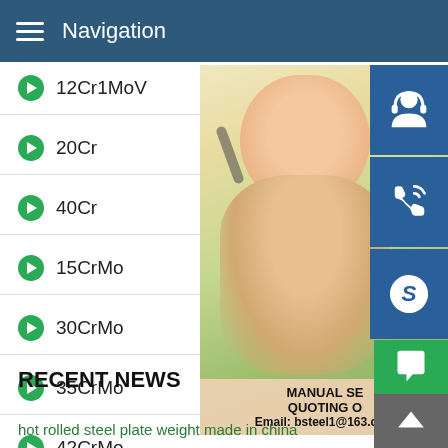Navigation
12Cr1MoV
20Cr
40Cr
15CrMo
30CrMo
35CrMo
42CrMo
[Figure (photo): Customer service representative woman with headset, promotional overlay showing MANUAL SERVICE, QUOTING ON, Email: bsteel1@163.com]
RECENT NEWS
hot rolled steel plate weight made in china